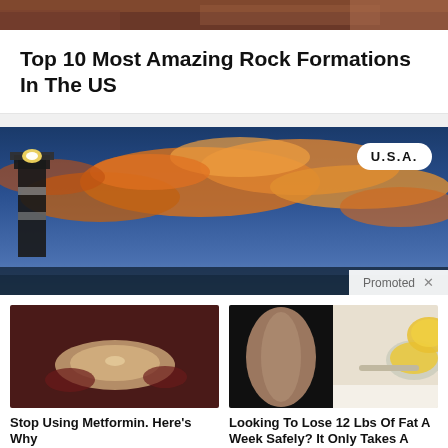[Figure (photo): Rocky landscape photo cropped at top]
Top 10 Most Amazing Rock Formations In The US
[Figure (photo): Advertisement banner showing a lighthouse against dramatic sunset sky with orange and blue clouds. Contains U.S.A. badge and Promoted label.]
[Figure (photo): Medical image showing internal organs, possibly intestines]
Stop Using Metformin. Here's Why
🔥 182,432
[Figure (photo): Collage image of a person's torso and a spoon with yellow powder (turmeric)]
Looking To Lose 12 Lbs Of Fat A Week Safely? It Only Takes A Teaspoon Of This!
🔥 635